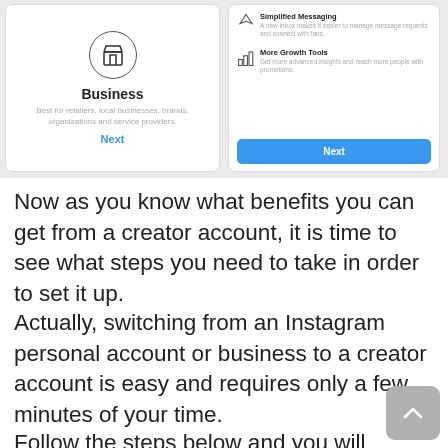[Figure (screenshot): Two side-by-side Instagram UI panels. Left panel shows a Business account option with a store icon, description 'Best for retailers, local businesses, brands, organizations and service providers.' and a blue Next link. Right panel shows features: Simplified Messaging and More Growth Tools, each with icon and description, and a blue Next button at the bottom.]
Now as you know what benefits you can get from a creator account, it is time to see what steps you need to take in order to set it up.
Actually, switching from an Instagram personal account or business to a creator account is easy and requires only a few minutes of your time.
Follow the steps below and you will switch to an